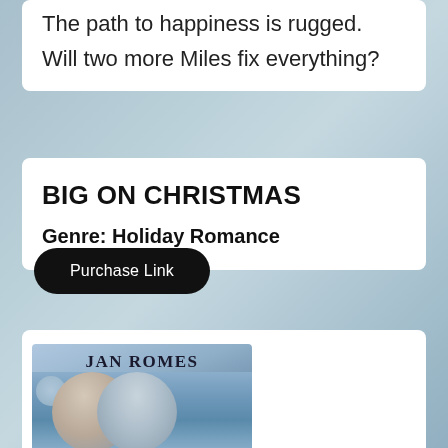The path to happiness is rugged. Will two more Miles fix everything?
BIG ON CHRISTMAS
Genre: Holiday Romance
Purchase Link
[Figure (photo): Book cover for 'Big on Christmas' by Jan Romes showing a couple in blue-tinted illustration style with floral decorations]